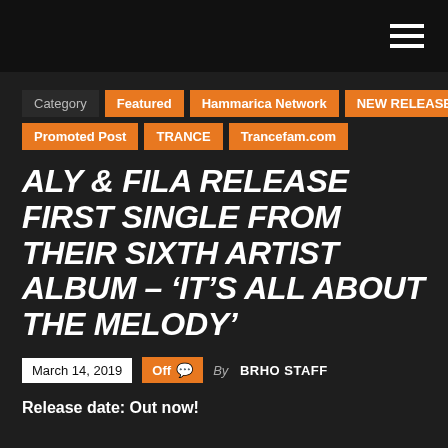Navigation header with hamburger menu
Category
Featured
Hammarica Network
NEW RELEASES
Promoted Post
TRANCE
Trancefam.com
ALY & FILA RELEASE FIRST SINGLE FROM THEIR SIXTH ARTIST ALBUM – ‘IT’S ALL ABOUT THE MELODY’
March 14, 2019   Off   By BRHO STAFF
Release date: Out now!